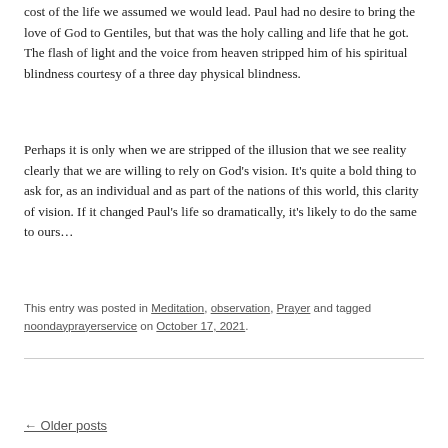cost of the life we assumed we would lead. Paul had no desire to bring the love of God to Gentiles, but that was the holy calling and life that he got. The flash of light and the voice from heaven stripped him of his spiritual blindness courtesy of a three day physical blindness.
Perhaps it is only when we are stripped of the illusion that we see reality clearly that we are willing to rely on God’s vision. It’s quite a bold thing to ask for, as an individual and as part of the nations of this world, this clarity of vision. If it changed Paul’s life so dramatically, it’s likely to do the same to ours…
This entry was posted in Meditation, observation, Prayer and tagged noondayprayerservice on October 17, 2021.
← Older posts